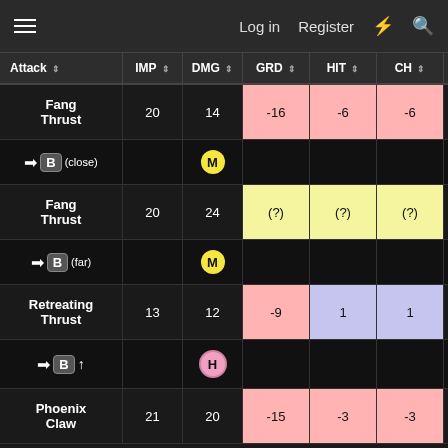Log in  Register
| Attack | IMP ↕ | DMG ↕ | GRD ↕ | HIT ↕ | CH ↕ | SC ↕ |
| --- | --- | --- | --- | --- | --- | --- |
| Fang Thrust | 20 | 14 | -16 | -6 | -6 | 14 |
| → B (close) |  | M |  |  |  |  |
| Fang Thrust | 20 | 24 | (?) | (?) | (?) | 10 |
| → B (far) |  | M |  |  |  |  |
| Retreating Thrust | 13 | 12 | -9 | 1 | 1 | (?) |
| → B ↑ |  | H |  |  |  |  |
| Phoenix Claw | 21 | 20 | -15 | -3 | -3 | (?) |